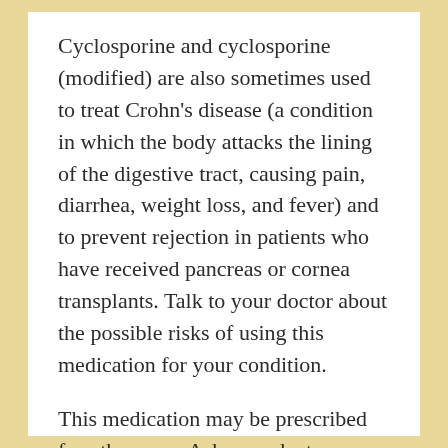Cyclosporine and cyclosporine (modified) are also sometimes used to treat Crohn's disease (a condition in which the body attacks the lining of the digestive tract, causing pain, diarrhea, weight loss, and fever) and to prevent rejection in patients who have received pancreas or cornea transplants. Talk to your doctor about the possible risks of using this medication for your condition.
This medication may be prescribed for other uses. Ask your doctor or pharmacist for more information.